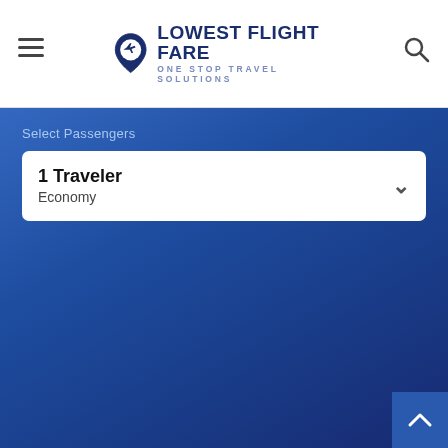LOWEST FLIGHT FARE — ONE STOP TRAVEL SOLUTIONS
[Figure (screenshot): Flight search booking widget with 'Select Passengers' dropdown showing '1 Traveler / Economy' and a 'Search' button, on a blue gradient background]
About Panama City
Panama City is a seaport capital city of Panama, framed by the pacific ocean and man-made Canal. Further, the movable city is blessed with admirable culture, lively nightlife, abundant wildlife, mouth-watering cuisine, and white sandy seashores. However, the city keeps its visitors accommodated during trip days with plenty of tourist attractions to